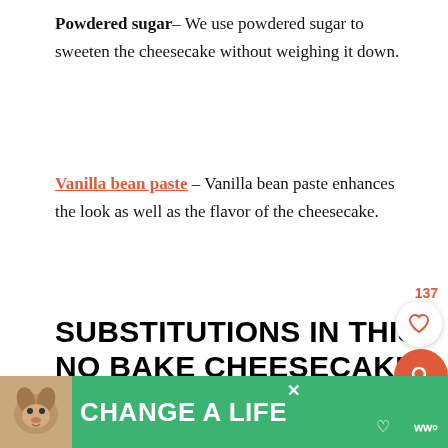Powdered sugar– We use powdered sugar to sweeten the cheesecake without weighing it down.
Vanilla bean paste – Vanilla bean paste enhances the look as well as the flavor of the cheesecake.
SUBSTITUTIONS IN THIS NO BAKE CHEESECAKE RECIPE
If you would like to use cool whip whipped to...
[Figure (screenshot): UI overlay with like count 137, heart button, search button, heart button, share button on right side of page]
[Figure (infographic): Green advertisement banner at bottom reading CHANGE A LIFE with a dog image and close button]